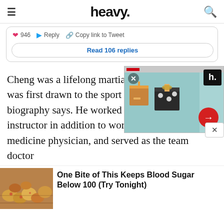heavy.
946   Reply   Copy link to Tweet
Read 106 replies
Cheng was a lifelong martial art... was first drawn to the sport in c... biography says. He worked as a m... instructor in addition to working as a sports medicine physician, and served as the team doctor
[Figure (advertisement): Ad overlay with gift boxes image, heavy. logo, red arrow button, and close X]
[Figure (photo): Food photo showing grilled/roasted items, likely potatoes or similar vegetables]
One Bite of This Keeps Blood Sugar Below 100 (Try Tonight)